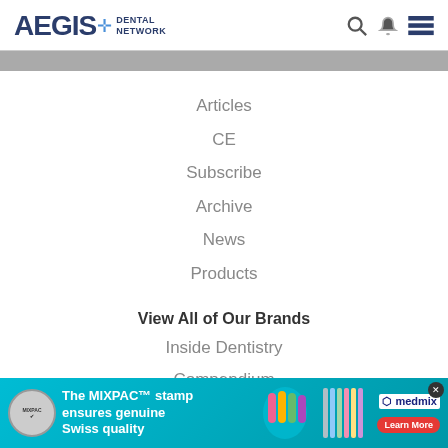[Figure (logo): AEGIS Dental Network logo with blue cross/plus symbol]
Articles
CE
Subscribe
Archive
News
Products
View All of Our Brands
Inside Dentistry
Compendium
Inside Dental Technology
Inside Dental Hygiene
CDE World
[Figure (infographic): Advertisement banner: The MIXPAC stamp ensures genuine Swiss quality. Medmix brand. Shows colorful mixing tips and dental product. Learn More button.]